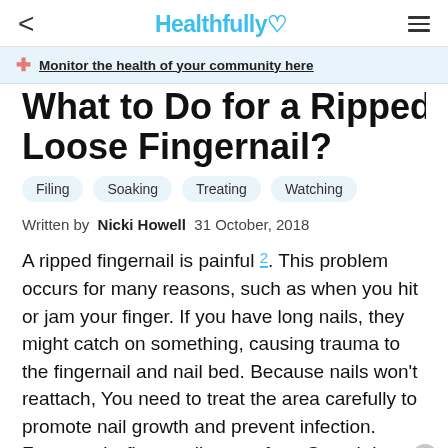< Healthfully ♡ ≡
Monitor the health of your community here
What to Do for a Ripped Loose Fingernail?
Filing
Soaking
Treating
Watching
Written by Nicki Howell 31 October, 2018
A ripped fingernail is painful 2. This problem occurs for many reasons, such as when you hit or jam your finger. If you have long nails, they might catch on something, causing trauma to the fingernail and nail bed. Because nails won't reattach, You need to treat the area carefully to promote nail growth and prevent infection. Fortunately, fingernails grow fast. Growth is